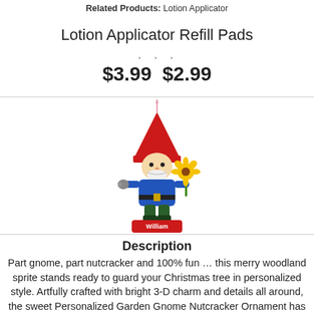Related Products: Lotion Applicator
Lotion Applicator Refill Pads
, , ,
$3.99 $2.99
[Figure (photo): A gnome nutcracker Christmas ornament with a red pointed hat, blue jacket, holding a sunflower, standing on a red base labeled 'William', hanging by a pink string.]
Description
Part gnome, part nutcracker and 100% fun … this merry woodland sprite stands ready to guard your Christmas tree in personalized style. Artfully crafted with bright 3-D charm and details all around, the sweet Personalized Garden Gnome Nutcracker Ornament has an adorable face with